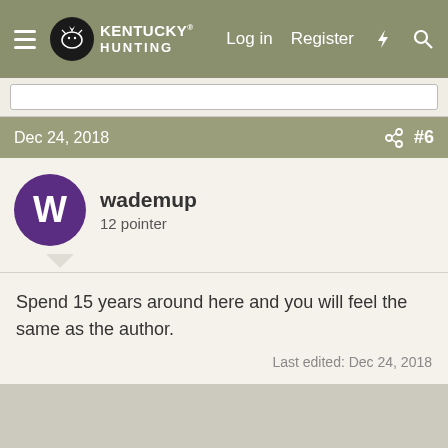Kentucky Hunting — Log in  Register
Dec 24, 2018   #6
wademup
12 pointer
Spend 15 years around here and you will feel the same as the author.
Last edited: Dec 24, 2018
Dec 24, 2018   #7
Feedman
Cyber Hunter